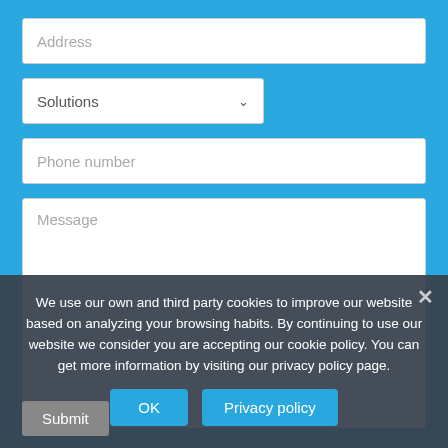[Figure (screenshot): Web contact form with fields: Address (text input), Solutions (dropdown), Phone number (text input), Message (textarea), and a Submit button. A cookie consent banner overlays the bottom portion with text about cookie usage and OK / Privacy policy buttons.]
We use our own and third party cookies to improve our website based on analyzing your browsing habits. By continuing to use our website we consider you are accepting our cookie policy. You can get more information by visiting our privacy policy page.
OK
Privacy policy
Submit